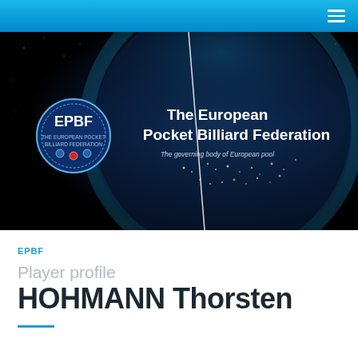Navigation bar with hamburger menu
[Figure (photo): Hero banner showing a globe (Earth from space at night with city lights) background with The European Pocket Billiard Federation logo (EPBF circular badge) and federation name and tagline overlaid on the dark space/globe imagery]
EPBF
Player profile
HOHMANN Thorsten